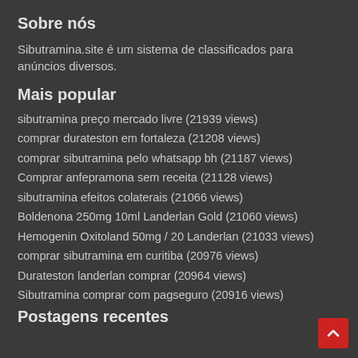Sobre nós
Sibutramina.site é um sistema de classificados para anúncios diversos.
Mais popular
sibutramina preço mercado livre (21939 views)
comprar durateston em fortaleza (21208 views)
comprar sibutramina pelo whatsapp bh (21187 views)
Comprar anfepramona sem receita (21128 views)
sibutramina efeitos colaterais (21066 views)
Boldenona 250mg 10ml Landerlan Gold (21060 views)
Hemogenin Oxitoland 50mg / 20 Landerlan (21033 views)
comprar sibutramina em curitiba (20976 views)
Durateston landerlan comprar (20964 views)
Sibutramina comprar com pagseguro (20916 views)
Postagens recentes